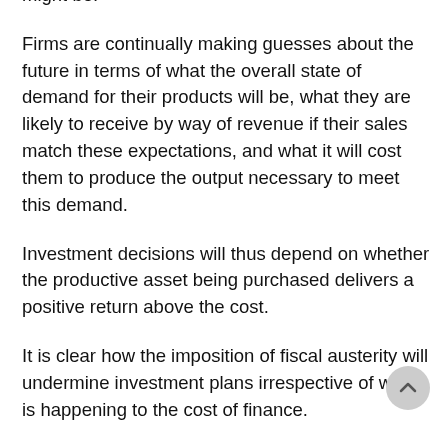might be.
Firms are continually making guesses about the future in terms of what the overall state of demand for their products will be, what they are likely to receive by way of revenue if their sales match these expectations, and what it will cost them to produce the output necessary to meet this demand.
Investment decisions will thus depend on whether the productive asset being purchased delivers a positive return above the cost.
It is clear how the imposition of fiscal austerity will undermine investment plans irrespective of what is happening to the cost of finance.
Firms will not invest in new productive capacity if they can satisfy current sales with their existing capacity and expect sales to be flat or falling in the period ahead.
This reasoning also helps us understand why investment can